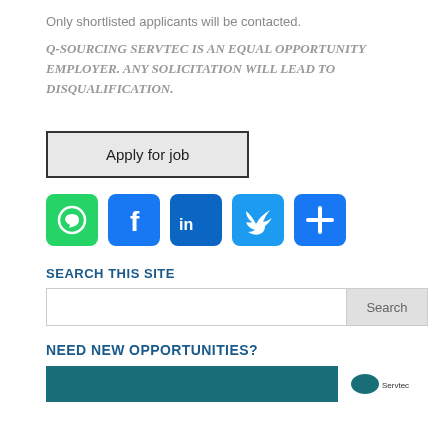Only shortlisted applicants will be contacted.
Q-SOURCING SERVTEC IS AN EQUAL OPPORTUNITY EMPLOYER. ANY SOLICITATION WILL LEAD TO DISQUALIFICATION.
Apply for job
[Figure (infographic): Social sharing icons: WhatsApp (green), Facebook (blue), LinkedIn (dark blue), Twitter (light blue), More (blue plus icon)]
SEARCH THIS SITE
Search
NEED NEW OPPORTUNITIES?
[Figure (illustration): Teal banner with Q-Sourcing Servtec logo on the right side]